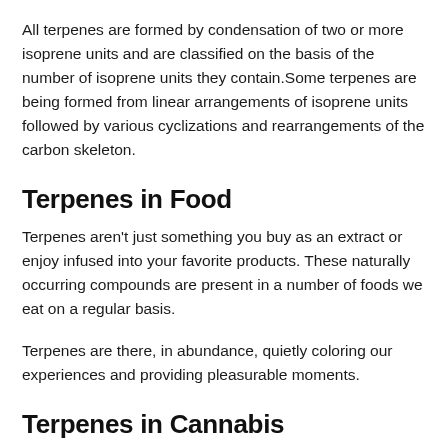All terpenes are formed by condensation of two or more isoprene units and are classified on the basis of the number of isoprene units they contain.Some terpenes are being formed from linear arrangements of isoprene units followed by various cyclizations and rearrangements of the carbon skeleton.
Terpenes in Food
Terpenes aren't just something you buy as an extract or enjoy infused into your favorite products. These naturally occurring compounds are present in a number of foods we eat on a regular basis.
Terpenes are there, in abundance, quietly coloring our experiences and providing pleasurable moments.
Terpenes in Cannabis